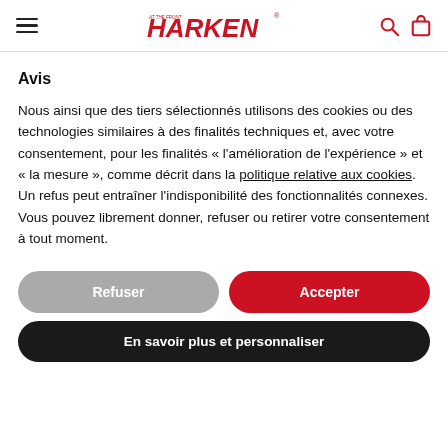Harken navigation header with hamburger menu, Harken logo, search and cart icons
Avis
Nous ainsi que des tiers sélectionnés utilisons des cookies ou des technologies similaires à des finalités techniques et, avec votre consentement, pour les finalités « l'amélioration de l'expérience » et « la mesure », comme décrit dans la politique relative aux cookies. Un refus peut entraîner l'indisponibilité des fonctionnalités connexes.
Vous pouvez librement donner, refuser ou retirer votre consentement à tout moment.
Refuser
Accepter
En savoir plus et personnaliser